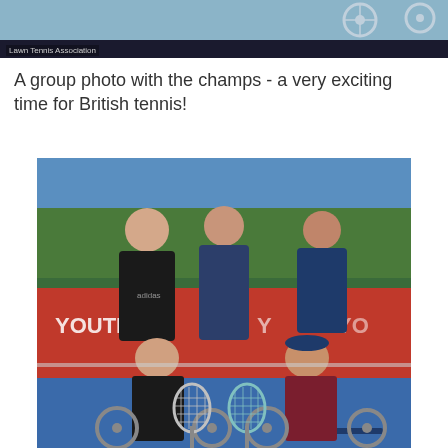[Figure (photo): Top portion of a photo showing wheelchair tennis equipment with 'Lawn Tennis Association' caption/watermark visible at the bottom left of the image strip.]
Lawn Tennis Association
A group photo with the champs - a very exciting time for British tennis!
[Figure (photo): Group photo of five people on a tennis court. Three people standing in the back row: a tall man in a black Adidas tracksuit on the left, a woman in a navy blue tracksuit in the center, and a young woman in a navy blue tennis shirt on the right. Two men in the front row are seated in wheelchairs holding tennis rackets: one in a black tracksuit on the left and one in a maroon/dark red tracksuit on the right wearing a navy cap. A red banner with 'YOUTH' text is visible in the background. The setting appears to be an outdoor tennis court with trees visible in the background.]